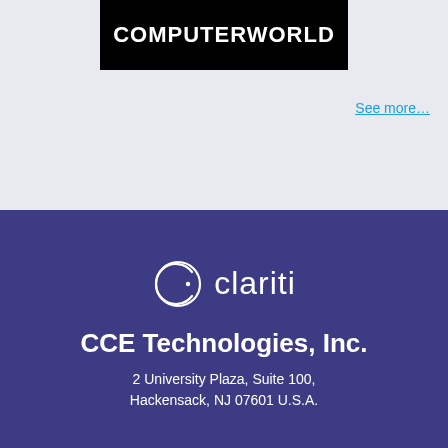[Figure (logo): COMPUTERWORLD logo — white bold uppercase text on black background rectangle]
See more…
[Figure (logo): Clariti logo — circular C icon with dot and wordmark 'clariti' in white on dark purple background]
CCE Technologies, Inc.
2 University Plaza, Suite 100, Hackensack, NJ 07601 U.S.A.